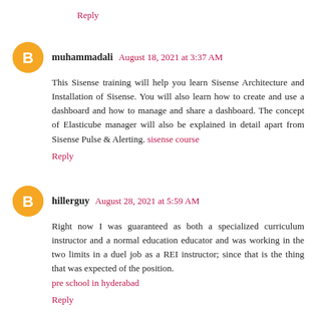Reply
muhammadali  August 18, 2021 at 3:37 AM
This Sisense training will help you learn Sisense Architecture and Installation of Sisense. You will also learn how to create and use a dashboard and how to manage and share a dashboard. The concept of Elasticube manager will also be explained in detail apart from Sisense Pulse & Alerting. sisense course
Reply
hillerguy  August 28, 2021 at 5:59 AM
Right now I was guaranteed as both a specialized curriculum instructor and a normal education educator and was working in the two limits in a duel job as a REI instructor; since that is the thing that was expected of the position.
pre school in hyderabad
Reply